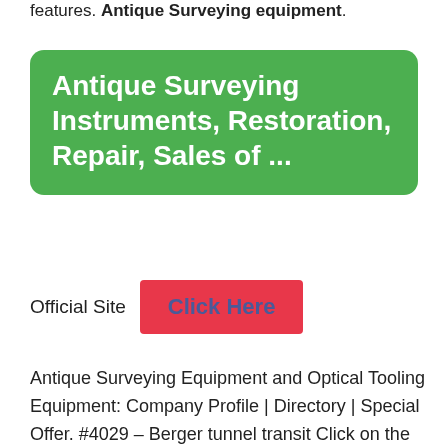features. Antique Surveying equipment.
Antique Surveying Instruments, Restoration, Repair, Sales of ...
Official Site  Click Here
Antique Surveying Equipment and Optical Tooling Equipment: Company Profile | Directory | Special Offer. #4029 – Berger tunnel transit Click on the photo for larger image.: Purpose of this site This web site is